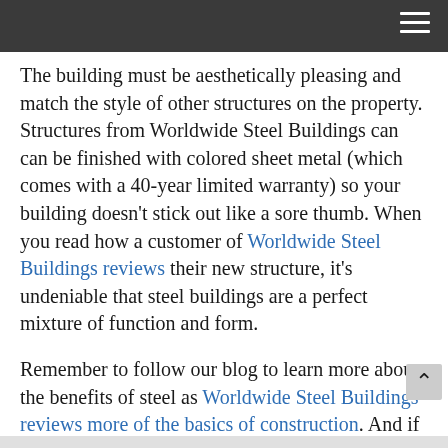[navigation bar with hamburger menu]
The building must be aesthetically pleasing and match the style of other structures on the property. Structures from Worldwide Steel Buildings can can be finished with colored sheet metal (which comes with a 40-year limited warranty) so your building doesn't stick out like a sore thumb. When you read how a customer of Worldwide Steel Buildings reviews their new structure, it's undeniable that steel buildings are a perfect mixture of function and form.
Remember to follow our blog to learn more about the benefits of steel as Worldwide Steel Buildings reviews more of the basics of construction. And if you're interested in getting a steel building for your personal or business use, contact us toda